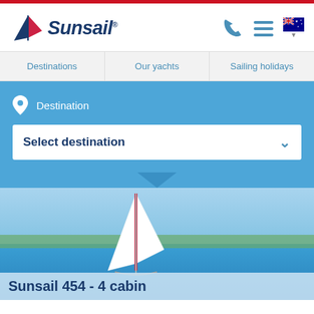[Figure (logo): Sunsail logo with sail icon and italic text]
[Figure (illustration): Australian flag icon with dropdown arrow]
[Figure (illustration): Phone icon]
[Figure (illustration): Hamburger menu icon]
Destinations
Our yachts
Sailing holidays
Destination
Select destination
[Figure (photo): Sailboat on blue ocean water with white sail and red stripe, coastline in background]
Sunsail 454 - 4 cabin